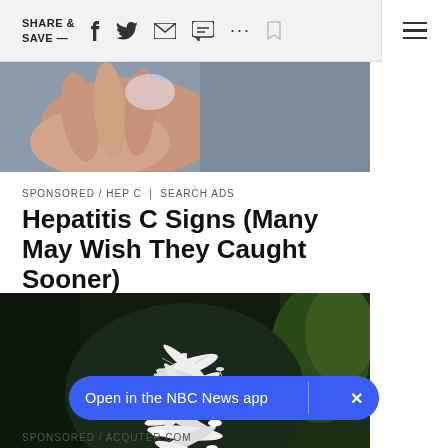SHARE & SAVE —
[Figure (photo): Close-up of a hand holding a small plastic bag near a gray surface]
SPONSORED / HEP C | SEARCH ADS
Hepatitis C Signs (Many May Wish They Caught Sooner)
[Figure (photo): White kinetic wind sculpture with spiral arms against a dark forest background with green trees]
Open in the NBC News app
SPONSORED / ACQUTER.COM